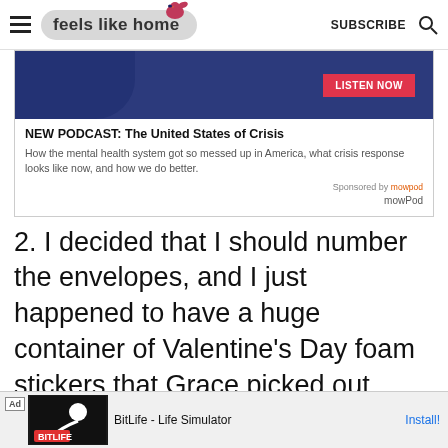feels like home | SUBSCRIBE
[Figure (screenshot): Podcast advertisement banner for 'The United States of Crisis' on a dark blue background with a 'LISTEN NOW' button]
NEW PODCAST: The United States of Crisis
How the mental health system got so messed up in America, what crisis response looks like now, and how we do better.
Sponsored by mowPod
2. I decided that I should number the envelopes, and I just happened to have a huge container of Valentine's Day foam stickers that Grace picked out. They are all dog-themed, and th...
[Figure (screenshot): Bottom advertisement bar for BitLife - Life Simulator app with Install button]